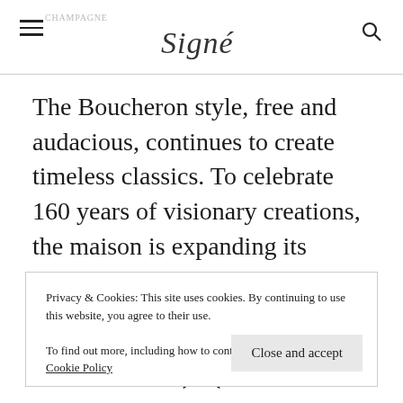Signé — navigation header with menu, logo, and search icon
The Boucheron style, free and audacious, continues to create timeless classics. To celebrate 160 years of visionary creations, the maison is expanding its signature Serpent Bohème collection this year by adding two new coloured stones.
[Figure (illustration): Bookmark icon (outline bookmark shape), centered on page]
Privacy & Cookies: This site uses cookies. By continuing to use this website, you agree to their use.
To find out more, including how to control cookies, see here: Cookie Policy
[Close and accept button]